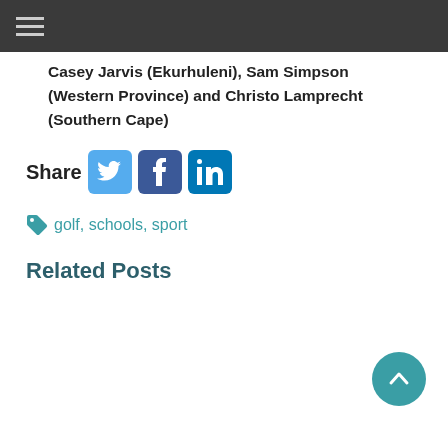Casey Jarvis (Ekurhuleni), Sam Simpson (Western Province) and Christo Lamprecht (Southern Cape)
[Figure (infographic): Share row with Twitter, Facebook, and LinkedIn social media icons]
golf, schools, sport
Related Posts